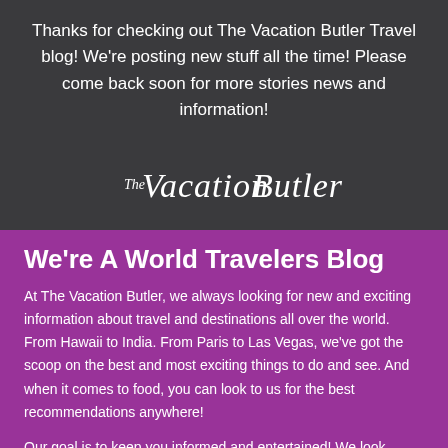Thanks for checking out The Vacation Butler Travel blog! We're posting new stuff all the time! Please come back soon for more stories news and information!
[Figure (logo): The Vacation Butler cursive script logo in white on dark background]
We're A World Travelers Blog
At The Vacation Butler, we always looking for new and exciting information about travel and destinations all over the world. From Hawaii to India. From Paris to Las Vegas, we've got the scoop on the best and most exciting things to do and see. And when it comes to food, you can look to us for the best recommendations anywhere!
Our goal is to keep you informed and entertained! We look forward to making sure that The Vacation Butler is a regular destination on your web list and a